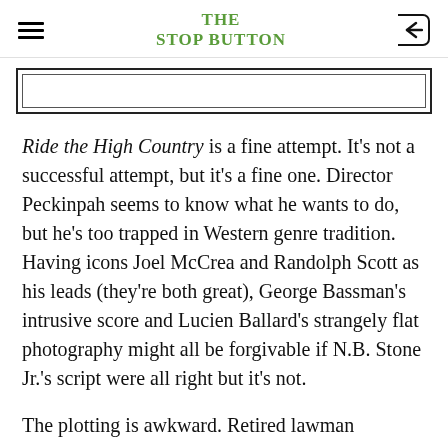THE STOP BUTTON
Ride the High Country is a fine attempt. It's not a successful attempt, but it's a fine one. Director Peckinpah seems to know what he wants to do, but he's too trapped in Western genre tradition. Having icons Joel McCrea and Randolph Scott as his leads (they're both great), George Bassman's intrusive score and Lucien Ballard's strangely flat photography might all be forgivable if N.B. Stone Jr.'s script were all right but it's not.
The plotting is awkward. Retired lawman